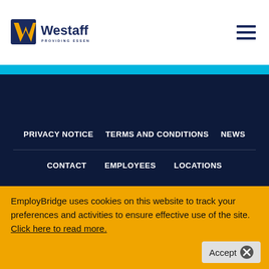Westaff - Providing Essential People
PRIVACY NOTICE
TERMS AND CONDITIONS
NEWS
CONTACT
EMPLOYEES
LOCATIONS
EmployBridge uses cookies on this website to track your preferences and activities to ensure effective use of the site. Click here to read more.